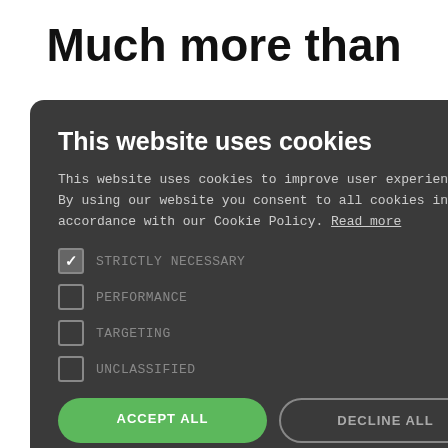Much more than
[Figure (screenshot): Cookie consent modal dialog on a dark background (#3a3a3a). Contains title 'This website uses cookies', body text about cookie policy with 'Read more' link, four checkboxes (STRICTLY NECESSARY checked, PERFORMANCE, TARGETING, UNCLASSIFIED unchecked), ACCEPT ALL (green) and DECLINE ALL buttons, and SHOW DETAILS link with gear icon. A close X button is in the top right corner.]
believe in and
nt
and
rkStation.
ce where
your music
ts,